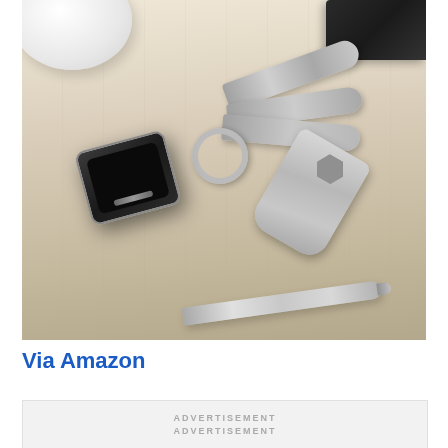[Figure (photo): Photo of a small black key fob/device attached to a keychain with multiple silver keys and a multi-tool key-shaped device, lying on a light wood surface. A silver pen and partial white bowl and sunglasses are also visible.]
Via Amazon
ADVERTISEMENT
ADVERTISEMENT